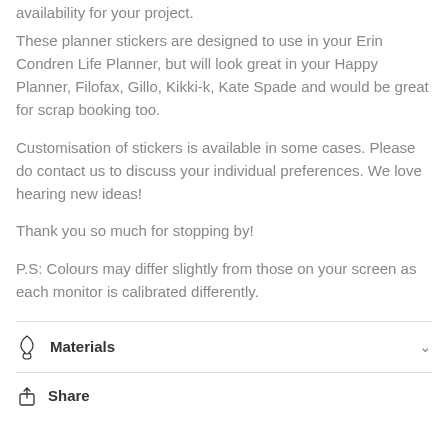availability for your project.
These planner stickers are designed to use in your Erin Condren Life Planner, but will look great in your Happy Planner, Filofax, Gillo, Kikki-k, Kate Spade and would be great for scrap booking too.
Customisation of stickers is available in some cases. Please do contact us to discuss your individual preferences. We love hearing new ideas!
Thank you so much for stopping by!
P.S: Colours may differ slightly from those on your screen as each monitor is calibrated differently.
Materials
Share